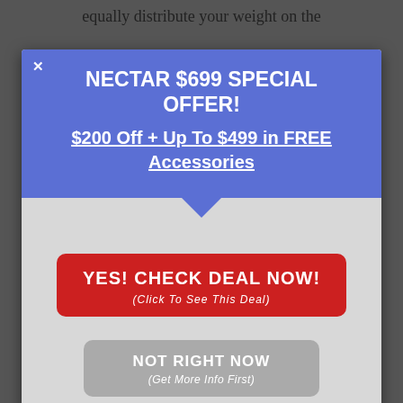equally distribute your weight on the
[Figure (screenshot): Modal popup advertisement for Nectar mattress with blue header showing NECTAR $699 SPECIAL OFFER!, $200 Off + Up To $499 in FREE Accessories, a red YES! CHECK DEAL NOW! button, and a gray NOT RIGHT NOW button]
NECTAR $699 SPECIAL OFFER!
$200 Off + Up To $499 in FREE Accessories
YES! CHECK DEAL NOW! (Click To See This Deal)
NOT RIGHT NOW (Get More Info First)